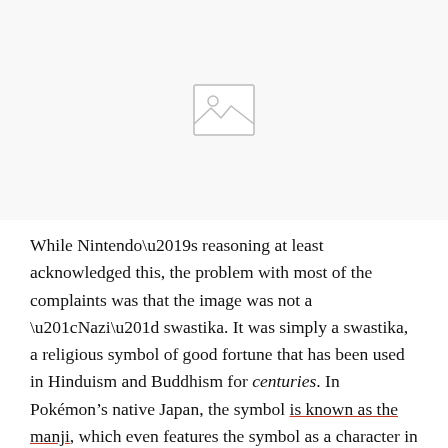[Figure (other): Placeholder image icon showing a mountain/landscape image placeholder with a grey border and simple line art of mountains and sun]
While Nintendo’s reasoning at least acknowledged this, the problem with most of the complaints was that the image was not a “Nazi” swastika. It was simply a swastika, a religious symbol of good fortune that has been used in Hinduism and Buddhism for centuries. In Pokémon’s native Japan, the symbol is known as the manji, which even features the symbol as a character in its Japanese spelling (卐 ).